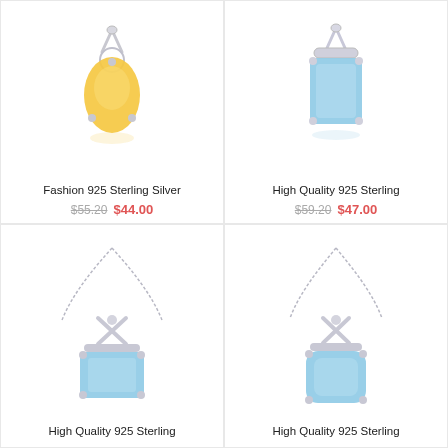[Figure (photo): Yellow citrine pear-shaped pendant on sterling silver prong setting, no chain visible]
Fashion 925 Sterling Silver
$55.20  $44.00
[Figure (photo): Blue topaz emerald-cut pendant on sterling silver four-prong setting, no chain visible]
High Quality 925 Sterling
$59.20  $47.00
[Figure (photo): Blue topaz emerald-cut pendant with X/crossover sterling silver bail on box chain necklace]
High Quality 925 Sterling
[Figure (photo): Blue topaz cushion-cut pendant with X/crossover sterling silver bail on box chain necklace]
High Quality 925 Sterling